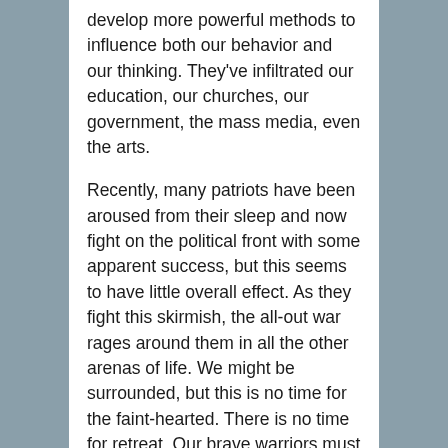develop more powerful methods to influence both our behavior and our thinking. They've infiltrated our education, our churches, our government, the mass media, even the arts.
Recently, many patriots have been aroused from their sleep and now fight on the political front with some apparent success, but this seems to have little overall effect. As they fight this skirmish, the all-out war rages around them in all the other arenas of life. We might be surrounded, but this is no time for the faint-hearted. There is no time for retreat. Our brave warriors must no longer fight on one front. It is time to engage the whole battlefield with all our might, mind, and spirit, and let our Lord lead us to victory.
In the olden days, the common language was never taken for granted. Many learned to read specifically so they could study the Holy